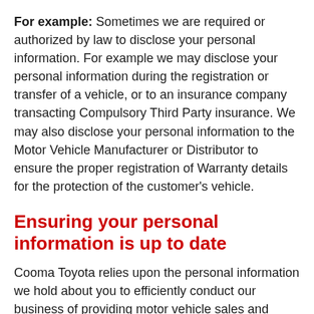For example: Sometimes we are required or authorized by law to disclose your personal information. For example we may disclose your personal information during the registration or transfer of a vehicle, or to an insurance company transacting Compulsory Third Party insurance. We may also disclose your personal information to the Motor Vehicle Manufacturer or Distributor to ensure the proper registration of Warranty details for the protection of the customer's vehicle.
Ensuring your personal information is up to date
Cooma Toyota relies upon the personal information we hold about you to efficiently conduct our business of providing motor vehicle sales and services. For this reason it is extremely important that the information